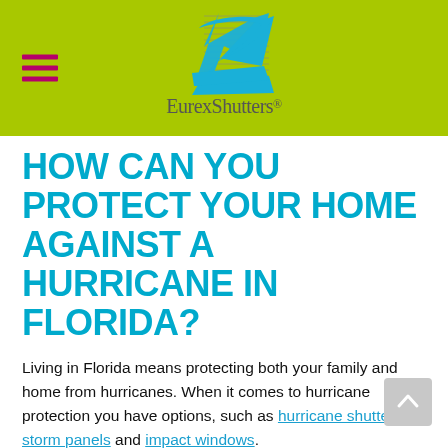[Figure (logo): EurexShutters logo with blue stylized letter E and horizontal lines on lime green background, with hamburger menu icon on the left]
HOW CAN YOU PROTECT YOUR HOME AGAINST A HURRICANE IN FLORIDA?
Living in Florida means protecting both your family and home from hurricanes. When it comes to hurricane protection you have options, such as hurricane shutters, storm panels and impact windows.
If you need more information you can learn more about all